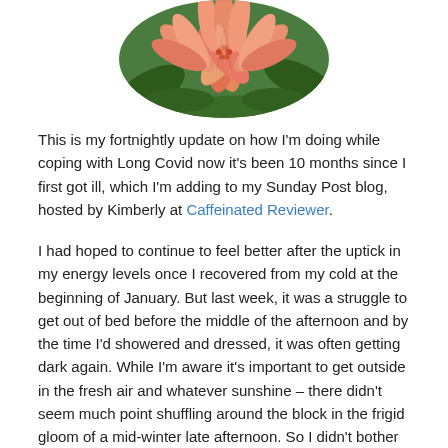[Figure (photo): Circular cropped photo of pink and orange lily flowers with green foliage background, positioned at top center of page.]
This is my fortnightly update on how I'm doing while coping with Long Covid now it's been 10 months since I first got ill, which I'm adding to my Sunday Post blog, hosted by Kimberly at Caffeinated Reviewer.
I had hoped to continue to feel better after the uptick in my energy levels once I recovered from my cold at the beginning of January. But last week, it was a struggle to get out of bed before the middle of the afternoon and by the time I'd showered and dressed, it was often getting dark again. While I'm aware it's important to get outside in the fresh air and whatever sunshine – there didn't seem much point shuffling around the block in the frigid gloom of a mid-winter late afternoon. So I didn't bother – for one thing, I can't move fast enough to get the blood moving to combat the cold, so it's an exercise in misery.
However this week, I woke up on Monday feeling hugely better. And so far, on Sunday, I'm still feeling better. Though I'm taking it cautiously. I still am dealing with the ongoing nasal drip, which I'm heartily sick of – both the disgusting taste and the resulting tinnitus. And my neck is still